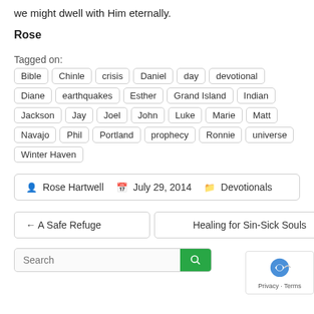we might dwell with Him eternally.
Rose
Tagged on:
Bible  Chinle  crisis  Daniel  day  devotional  Diane  earthquakes  Esther  Grand Island  Indian  Jackson  Jay  Joel  John  Luke  Marie  Matt  Navajo  Phil  Portland  prophecy  Ronnie  universe  Winter Haven
Rose Hartwell  July 29, 2014  Devotionals
← A Safe Refuge
Healing for Sin-Sick Souls
Search